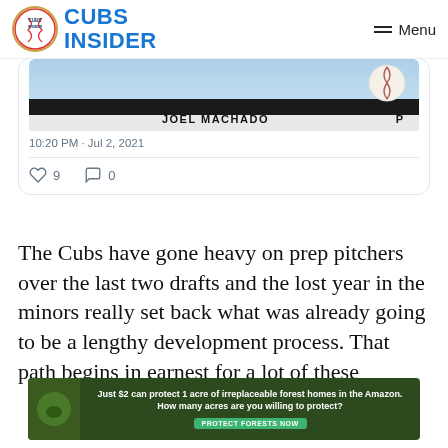CUBS INSIDER
[Figure (screenshot): Partial tweet card showing a baseball card image for Joel Machado with timestamp 10:20 PM · Jul 2, 2021 and engagement icons showing 9 likes and 0 comments]
The Cubs have gone heavy on prep pitchers over the last two drafts and the lost year in the minors really set back what was already going to be a lengthy development process. That path begins in earnest for a lot of these
[Figure (infographic): Advertisement banner: Just $2 can protect 1 acre of irreplaceable forest homes in the Amazon. How many acres are you willing to protect? PROTECT FORESTS NOW]